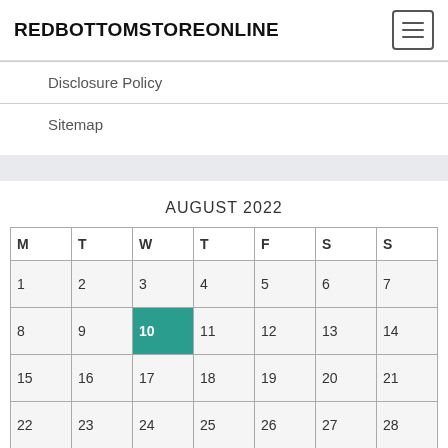REDBOTTOMSTOREONLINE
Disclosure Policy
Sitemap
AUGUST 2022
| M | T | W | T | F | S | S |
| --- | --- | --- | --- | --- | --- | --- |
| 1 | 2 | 3 | 4 | 5 | 6 | 7 |
| 8 | 9 | 10 | 11 | 12 | 13 | 14 |
| 15 | 16 | 17 | 18 | 19 | 20 | 21 |
| 22 | 23 | 24 | 25 | 26 | 27 | 28 |
| 29 | 30 | 31 |  |  |  |  |